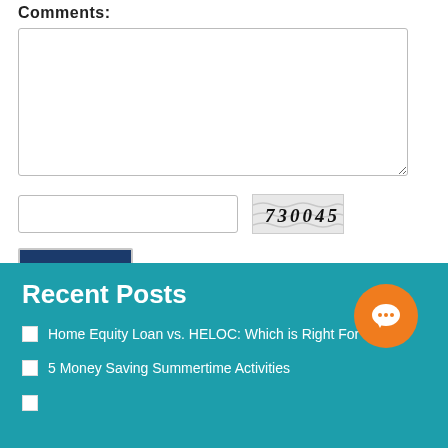Comments:
[comment textarea field]
[Figure (screenshot): CAPTCHA input field with text input box and captcha image showing '730045' with wavy background lines]
Add [button]
Recent Posts
Home Equity Loan vs. HELOC: Which is Right For You?
5 Money Saving Summertime Activities
[partially visible third item]